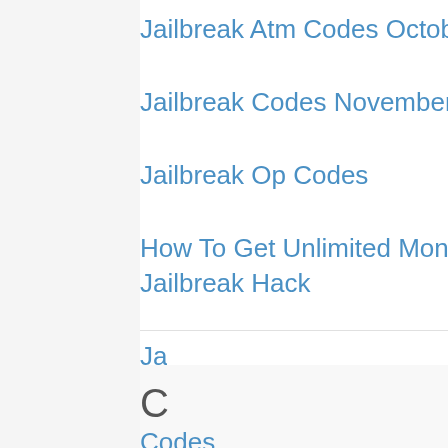Jailbreak Atm Codes October 2021
Jailbreak Codes November 2021
Jailbreak Op Codes
How To Get Unlimited Money In Jailbreak Hack
Ja
C
Codes